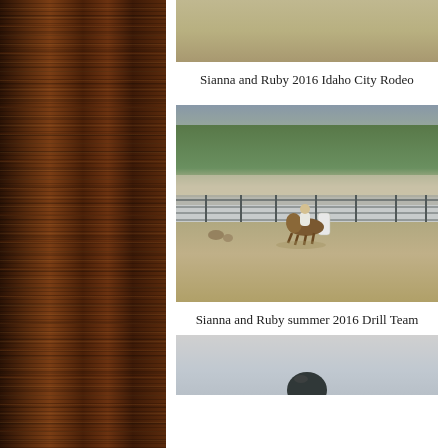[Figure (photo): Partial top of a photo showing a sandy/dusty arena ground - top portion cropped, showing Idaho City Rodeo scene]
Sianna and Ruby 2016 Idaho City Rodeo
[Figure (photo): Photo of a rider on horseback in a rodeo arena doing barrel racing, with green trees and rocky hillside in the background, metal fence panels visible]
Sianna and Ruby summer 2016 Drill Team
[Figure (photo): Partial bottom photo showing a rider wearing a helmet on horseback, cropped at bottom of page]